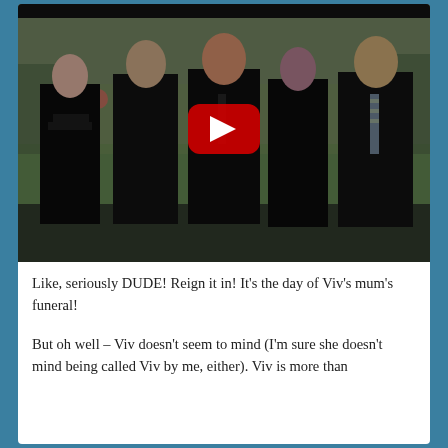[Figure (screenshot): A YouTube video thumbnail showing five people dressed in black funeral attire standing in a cemetery. There is a large red YouTube play button overlay in the center of the image. A black bar runs across the top of the video frame.]
Like, seriously DUDE! Reign it in! It's the day of Viv's mum's funeral!
But oh well – Viv doesn't seem to mind (I'm sure she doesn't mind being called Viv by me, either). Viv is more than happy to not be sombre, having a...